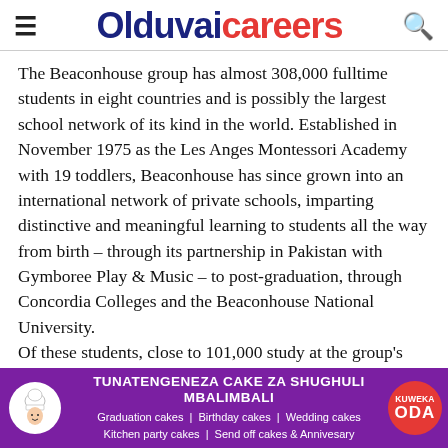Olduvaicareers
The Beaconhouse group has almost 308,000 fulltime students in eight countries and is possibly the largest school network of its kind in the world. Established in November 1975 as the Les Anges Montessori Academy with 19 toddlers, Beaconhouse has since grown into an international network of private schools, imparting distinctive and meaningful learning to students all the way from birth – through its partnership in Pakistan with Gymboree Play & Music – to post-graduation, through Concordia Colleges and the Beaconhouse National University. Of these students, close to 101,000 study at the group's flagship network, the Beaconhouse School
[Figure (infographic): Purple advertisement banner for a cake business. Chef logo on left, main text 'TUNATENGENEZA CAKE ZA SHUGHULI MBALIMBALI', sub-text listing 'Graduation cakes | Birthday cakes | Wedding cakes / Kitchen party cakes | Send off cakes & Annivesary', red circular button 'KUWEKA ODA' on right.]